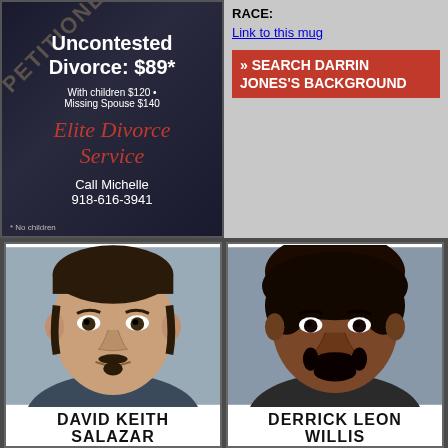[Figure (photo): Advertisement for Elite Divorce Service showing dark background with text: Uncontested Divorce $89*, With children $120, Missing Spouse $140, Elite Divorce Service, Call Michelle 918-616-3941, *No children]
RACE:
Link to this mug
» SEARCH DARRIN JONES'S BACKGROUND
[Figure (photo): Mugshot photo of David Keith Salazar, male with goatee]
[Figure (photo): Mugshot photo of Derrick Leon Willis, Black male with beard]
DAVID KEITH SALAZAR
DERRICK LEON WILLIS